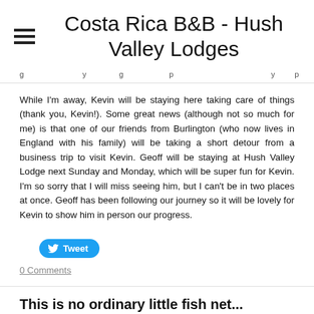Costa Rica B&B - Hush Valley Lodges
g         y   g       p                 y   p
While I'm away, Kevin will be staying here taking care of things (thank you, Kevin!). Some great news (although not so much for me) is that one of our friends from Burlington (who now lives in England with his family) will be taking a short detour from a business trip to visit Kevin. Geoff will be staying at Hush Valley Lodge next Sunday and Monday, which will be super fun for Kevin. I'm so sorry that I will miss seeing him, but I can't be in two places at once. Geoff has been following our journey so it will be lovely for Kevin to show him in person our progress.
Tweet
0 Comments
This is no ordinary little fish net...
8/21/2016  0 Comments